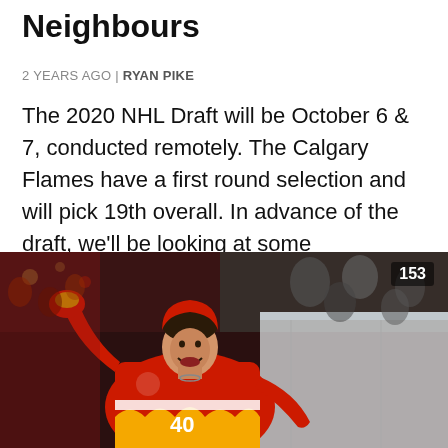Neighbours
2 YEARS AGO | RYAN PIKE
The 2020 NHL Draft will be October 6 & 7, conducted remotely. The Calgary Flames have a first round selection and will pick 19th overall. In advance of the draft, we'll be looking at some contenders to be selected at 19th. Next on our list is a player from just up Highway 2: Edmonton Oil…
[Figure (photo): Hockey player in red Calgary Flames jersey #40 celebrating with fist raised, crowd in background. Number 153 overlay in top right.]